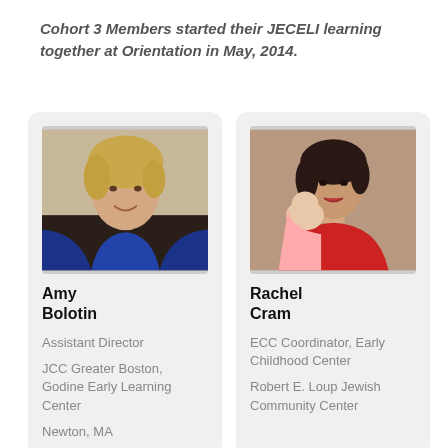Cohort 3 Members started their JECELI learning together at Orientation in May, 2014.
[Figure (photo): Headshot photo of Amy Bolotin, a woman with blonde hair smiling]
Amy Bolotin
Assistant Director
JCC Greater Boston, Godine Early Learning Center
Newton, MA
[Figure (photo): Photo of Rachel Cram, a woman in red holding a baby]
Rachel Cram
ECC Coordinator, Early Childhood Center
Robert E. Loup Jewish Community Center